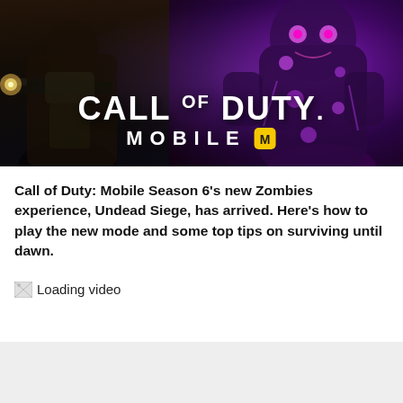[Figure (illustration): Call of Duty Mobile promotional banner showing a soldier with a weapon on the left and a purple glowing monster/zombie on the right, with the 'CALL OF DUTY MOBILE' logo centered over the image.]
Call of Duty: Mobile Season 6's new Zombies experience, Undead Siege, has arrived. Here's how to play the new mode and some top tips on surviving until dawn.
Loading video